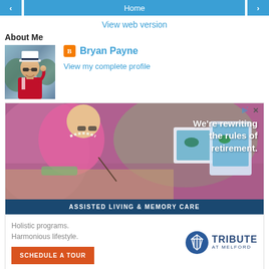< Home >
View web version
About Me
[Figure (photo): Profile photo of Bryan Payne wearing a captain's hat and sunglasses, smiling, in athletic attire]
Bryan Payne
View my complete profile
[Figure (photo): Advertisement for Tribute at Melford assisted living. Shows elderly woman painting. Text: We're rewriting the rules of retirement. ASSISTED LIVING & MEMORY CARE. Holistic programs. Harmonious lifestyle. SCHEDULE A TOUR.]